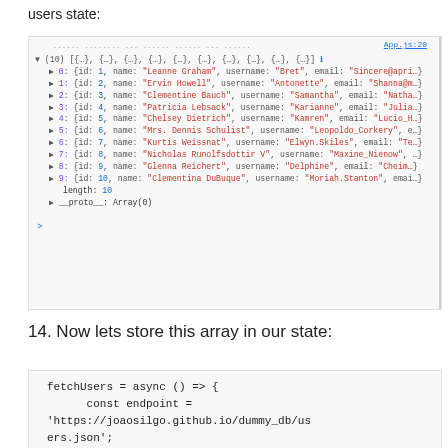users state:
[Figure (screenshot): Browser DevTools console showing an array of 10 user objects with properties id, name, username, email. Array is expanded showing indices 0-9 with truncated values. App.js:20 link shown top right. length: 10 and __proto__: Array(0) shown at bottom. Blue arrow > shown below.]
14. Now lets store this array in our state:
[Figure (screenshot): Code block showing: fetchUsers = async () => { const endpoint = 'https://joaosilgo.github.io/dummy_db/users.json'; const resp = await]